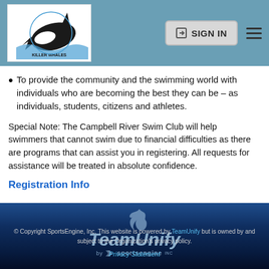[Figure (logo): Killer Whales swim club logo with orca and water graphic, white background]
[Figure (screenshot): Header navigation bar with SIGN IN button and hamburger menu icon]
To provide the community and the swimming world with individuals who are becoming the best they can be – as individuals, students, citizens and athletes.
Special Note: The Campbell River Swim Club will help swimmers that cannot swim due to financial difficulties as there are programs that can assist you in registering. All requests for assistance will be treated in absolute confidence.
Registration Info
[Figure (logo): TeamUnify by SportsEngine Inc. logo in blue/grey tones with flame icon]
© Copyright SportsEngine, Inc. This website is powered by TeamUnify but is owned by and subject to the Organization's privacy policy.
Privacy Statement